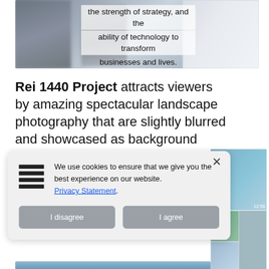[Figure (photo): Blurred background photo of two people/figures with overlaid text reading 'the strength of strategy, and the ability of technology to transform businesses and lives.']
Rei 1440 Project attracts viewers by amazing spectacular landscape photography that are slightly blurred and showcased as background images.
[Figure (screenshot): Cookie consent banner with hamburger menu icon, text 'We use cookies to ensure that we give you the best experience on our website. Privacy Statement.' with I disagree and I agree buttons. An X close button is in the top right. Partially overlapping a photo grid.]
[Figure (photo): Bottom portion showing landscape/nature photos partially visible.]